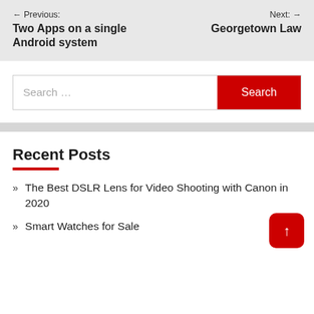← Previous: Two Apps on a single Android system | Next: Georgetown Law →
Search ...
» The Best DSLR Lens for Video Shooting with Canon in 2020
» Smart Watches for Sale
Recent Posts